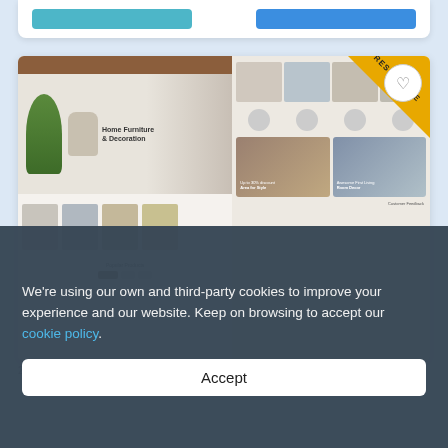[Figure (screenshot): Partial top card with two buttons (teal and blue) on white background]
[Figure (screenshot): Screenshot of a furniture e-commerce website showing 'Home Furniture & Decoration' hero section, product thumbnails, popular products section, grid of items, and customer feedback. Includes a 'RESPONSIVE' diagonal banner badge and a heart/favorite button.]
We're using our own and third-party cookies to improve your experience and our website. Keep on browsing to accept our cookie policy.
Accept
2. Sono Interior Furniture Store Presta...